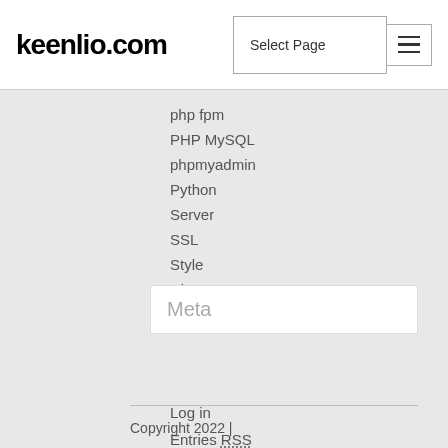keenlio.com | Select Page
php fpm
PHP MySQL
phpmyadmin
Python
Server
SSL
Style
Ubuntu
Uncategorized
Meta
Log in
Entries RSS
Comments RSS
WordPress.org
Copyright 2022 |